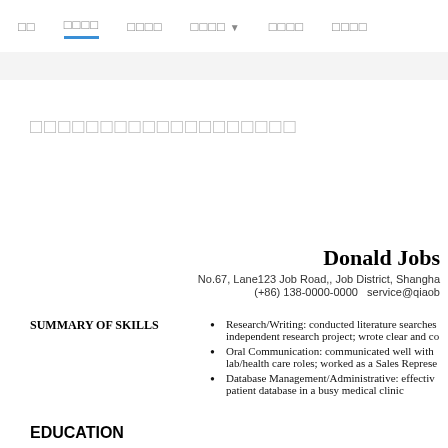□□  □□□□  □□□□  □□□□ ▼  □□□□  □□□□
□□□□□□□□□□□□□□□□□□□
Donald Jobs
No.67, Lane123 Job Road,, Job District, Shanghai
(+86) 138-0000-0000   service@qiaob
SUMMARY OF SKILLS
Research/Writing: conducted literature searches independent research project; wrote clear and co
Oral Communication: communicated well with lab/health care roles; worked as a Sales Represe
Database Management/Administrative: effective patient database in a busy medical clinic
EDUCATION